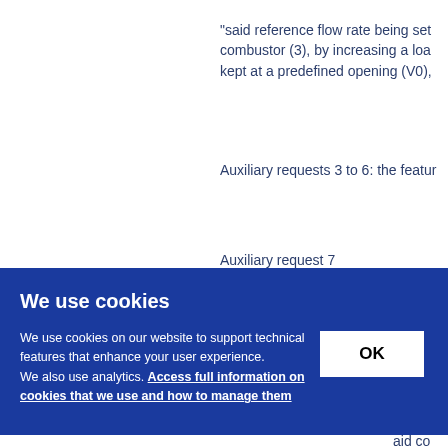"said reference flow rate being set combustor (3), by increasing a load kept at a predefined opening (V0),
Auxiliary requests 3 to 6: the featur
Auxiliary request 7
"said reference flow rate being set
as to
as tur
rate
aid co
[Figure (screenshot): Cookie consent overlay banner with blue background. Title: 'We use cookies'. Body text: 'We use cookies on our website to support technical features that enhance your user experience. We also use analytics. Access full information on cookies that we use and how to manage them'. OK button on the right side.]